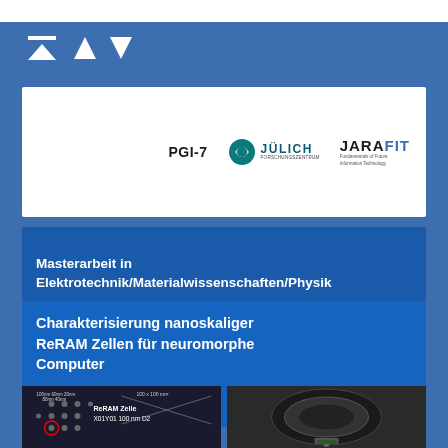[Figure (logo): PGI-7, Jülich, and JARA FIT logos on white background]
Masterarbeit in Elektrotechnik/Materialwissenschaften/Physik
Charakterisierung nanoskaliger ReRAM Zellen für neuromorphe Computer
[Figure (photo): Left: microscopy image of ReRAM Zelle X01Y01 100 nm D2 chip with 100 x 100 nm² label. Right: photo of measurement equipment/device.]